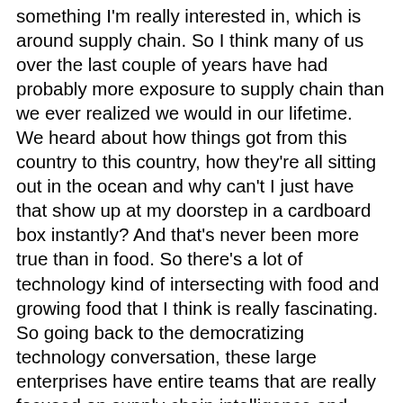something I'm really interested in, which is around supply chain. So I think many of us over the last couple of years have had probably more exposure to supply chain than we ever realized we would in our lifetime. We heard about how things got from this country to this country, how they're all sitting out in the ocean and why can't I just have that show up at my doorstep in a cardboard box instantly? And that's never been more true than in food. So there's a lot of technology kind of intersecting with food and growing food that I think is really fascinating. So going back to the democratizing technology conversation, these large enterprises have entire teams that are really focused on supply chain intelligence and traceability of food. And now with blockchain and some other technologies, there's actually a lot of really interesting things happening around purchasing fresh food, disease-free food, some